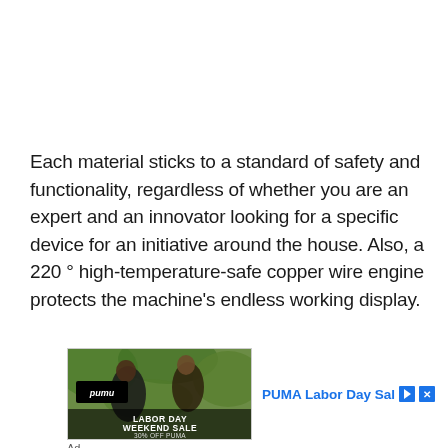Each material sticks to a standard of safety and functionality, regardless of whether you are an expert and an innovator looking for a specific device for an initiative around the house. Also, a 220 ° high-temperature-safe copper wire engine protects the machine's endless working display.
[Figure (screenshot): Advertisement banner for PUMA Labor Day Sale showing two people outdoors with LABOR DAY WEEKEND SALE 30% OFF PUMA text overlay. Title reads 'PUMA Labor Day Sal' with play and close buttons.]
Ad